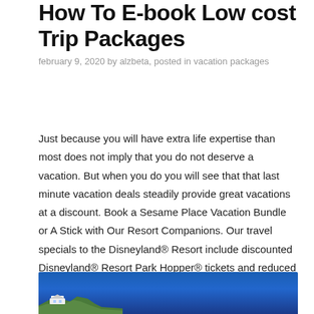How To E-book Low cost Trip Packages
february 9, 2020 by alzbeta, posted in vacation packages
Just because you will have extra life expertise than most does not imply that you do not deserve a vacation. But when you do you will see that that last minute vacation deals steadily provide great vacations at a discount. Book a Sesame Place Vacation Bundle or A Stick with Our Resort Companions. Our travel specials to the Disneyland® Resort include discounted Disneyland® Resort Park Hopper® tickets and reduced rates, free evening resort specials and exclusive negotiated extras at Anaheim area accommodations.
[Figure (photo): A coastal scene with blue ocean water and a white building/house on a rocky cliff or hillside in the bottom left corner.]